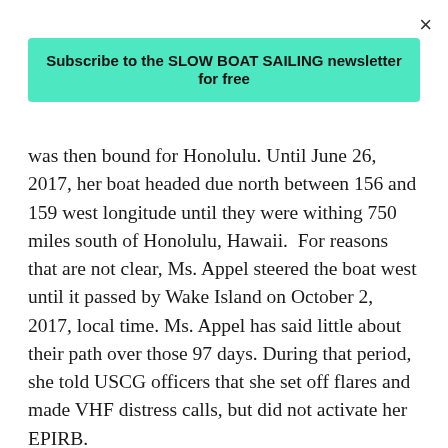×
Subscribe to the SLOW BOAT SAILING newsletter for free
was then bound for Honolulu. Until June 26, 2017, her boat headed due north between 156 and 159 west longitude until they were withing 750 miles south of Honolulu, Hawaii. For reasons that are not clear, Ms. Appel steered the boat west until it passed by Wake Island on October 2, 2017, local time. Ms. Appel has said little about their path over those 97 days. During that period, she told USCG officers that she set off flares and made VHF distress calls, but did not activate her EPIRB.